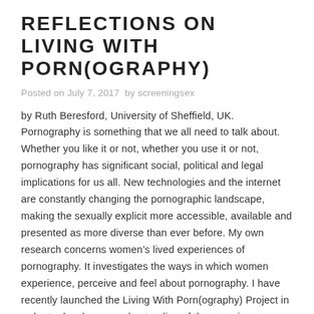REFLECTIONS ON LIVING WITH PORN(OGRAPHY)
Posted on July 7, 2017  by screeningsex
by Ruth Beresford, University of Sheffield, UK. Pornography is something that we all need to talk about. Whether you like it or not, whether you use it or not, pornography has significant social, political and legal implications for us all. New technologies and the internet are constantly changing the pornographic landscape, making the sexually explicit more accessible, available and presented as more diverse than ever before. My own research concerns women's lived experiences of pornography. It investigates the ways in which women experience, perceive and feel about pornography. I have recently launched the Living With Porn(ography) Project in order to develop an understanding of the ways in